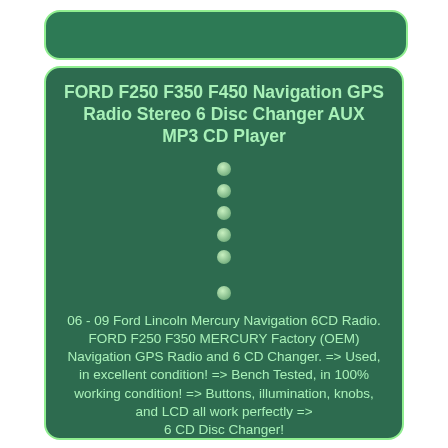[Figure (other): Dark green rounded rectangle top bar, decorative header element]
FORD F250 F350 F450 Navigation GPS Radio Stereo 6 Disc Changer AUX MP3 CD Player
•
•
•
•
•
•
06 - 09 Ford Lincoln Mercury Navigation 6CD Radio. FORD F250 F350 MERCURY Factory (OEM) Navigation GPS Radio and 6 CD Changer. => Used, in excellent condition! => Bench Tested, in 100% working condition! => Buttons, illumination, knobs, and LCD all work perfectly => 6 CD Disc Changer!